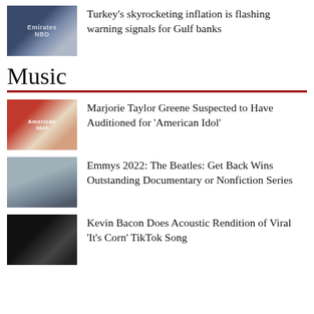[Figure (photo): Blurred street scene with Emirates NBD bank sign]
Turkey's skyrocketing inflation is flashing warning signals for Gulf banks
Music
[Figure (photo): Marjorie Taylor Greene with American Idol logo overlay]
Marjorie Taylor Greene Suspected to Have Auditioned for ‘American Idol’
[Figure (photo): Silhouettes of people on a field, The Beatles Get Back documentary]
Emmys 2022: The Beatles: Get Back Wins Outstanding Documentary or Nonfiction Series
[Figure (photo): Kevin Bacon dark background photo]
Kevin Bacon Does Acoustic Rendition of Viral ‘It’s Corn’ TikTok Song